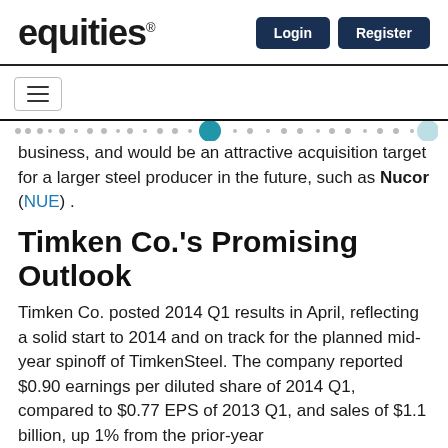equities® Login Register
business, and would be an attractive acquisition target for a larger steel producer in the future, such as Nucor (NUE).
Timken Co.'s Promising Outlook
Timken Co. posted 2014 Q1 results in April, reflecting a solid start to 2014 and on track for the planned mid-year spinoff of TimkenSteel. The company reported $0.90 earnings per diluted share of 2014 Q1, compared to $0.77 EPS of 2013 Q1, and sales of $1.1 billion, up 1% from the prior-year